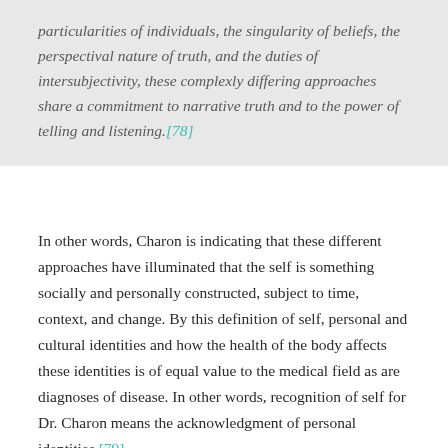particularities of individuals, the singularity of beliefs, the perspectival nature of truth, and the duties of intersubjectivity, these complexly differing approaches share a commitment to narrative truth and to the power of telling and listening.[78]
In other words, Charon is indicating that these different approaches have illuminated that the self is something socially and personally constructed, subject to time, context, and change. By this definition of self, personal and cultural identities and how the health of the body affects these identities is of equal value to the medical field as are diagnoses of disease. In other words, recognition of self for Dr. Charon means the acknowledgment of personal identities.[79]